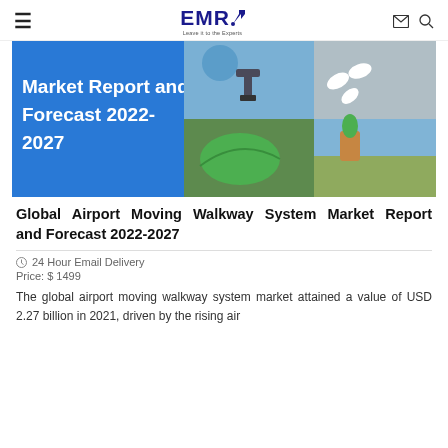EMR — Leave it to the Experts
[Figure (photo): Market Report and Forecast 2022-2027 banner image with blue panel on left and collage of science/agriculture photos on right]
Global Airport Moving Walkway System Market Report and Forecast 2022-2027
24 Hour Email Delivery
Price: $ 1499
The global airport moving walkway system market attained a value of USD 2.27 billion in 2021, driven by the rising air